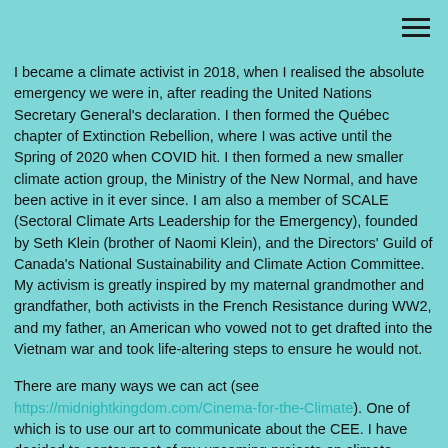I became a climate activist in 2018, when I realised the absolute emergency we were in, after reading the United Nations Secretary General's declaration. I then formed the Québec chapter of Extinction Rebellion, where I was active until the Spring of 2020 when COVID hit. I then formed a new smaller climate action group, the Ministry of the New Normal, and have been active in it ever since. I am also a member of SCALE (Sectoral Climate Arts Leadership for the Emergency), founded by Seth Klein (brother of Naomi Klein), and the Directors' Guild of Canada's National Sustainability and Climate Action Committee. My activism is greatly inspired by my maternal grandmother and grandfather, both activists in the French Resistance during WW2, and my father, an American who vowed not to get drafted into the Vietnam war and took life-altering steps to ensure he would not.
There are many ways we can act (see https://midnightkingdom.com/Cinema-for-the-Climate). One of which is to use our art to communicate about the CEE. I have decided to center most of my upcoming projects on climate change, extraction, and a more inclusive way to view our relationship with Nature.